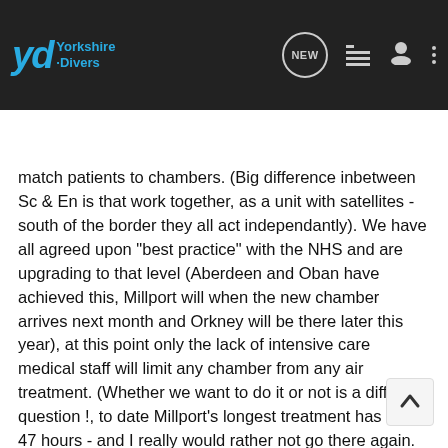Yorkshire Divers
match patients to chambers. (Big difference inbetween Sc & En is that work together, as a unit with satellites - south of the border they all act independantly). We have all agreed upon "best practice" with the NHS and are upgrading to that level (Aberdeen and Oban have achieved this, Millport will when the new chamber arrives next month and Orkney will be there later this year), at this point only the lack of intensive care medical staff will limit any chamber from any air treatment. (Whether we want to do it or not is a different question !, to date Millport's longest treatment has been 47 hours - and I really would rather not go there again.
Call outs. Normally via the Coastguard - Ch16, GMDSS, or 999. The sooner you get to a chamber, the better. However many don't know/admit that they are bent for a period of time. In this case 999 coastguard will put you through, via the ops room tto